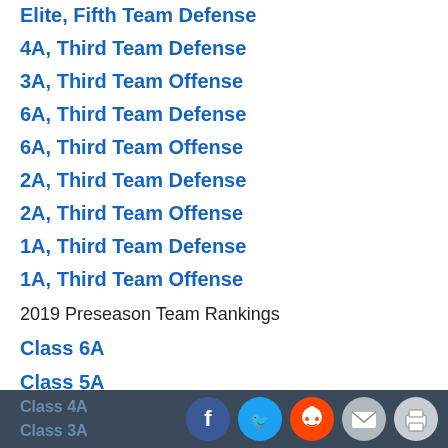Elite, Fifth Team Defense
4A, Third Team Defense
3A, Third Team Offense
6A, Third Team Defense
6A, Third Team Offense
2A, Third Team Defense
2A, Third Team Offense
1A, Third Team Defense
1A, Third Team Offense
2019 Preseason Team Rankings
Class 6A
Class 5A
Class 4A
Class 3A